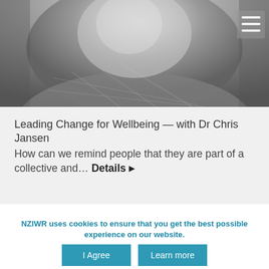[Figure (photo): Grayscale photo of a smiling man wearing a plaid shirt, cropped to show face and upper body. A hamburger menu icon appears in the top-right corner.]
Leading Change for Wellbeing — with Dr Chris Jansen
How can we remind people that they are part of a collective and… Details ▸
NZIWR uses cookies to ensure that you get the best possible experience on our website.
I Agree
Learn more